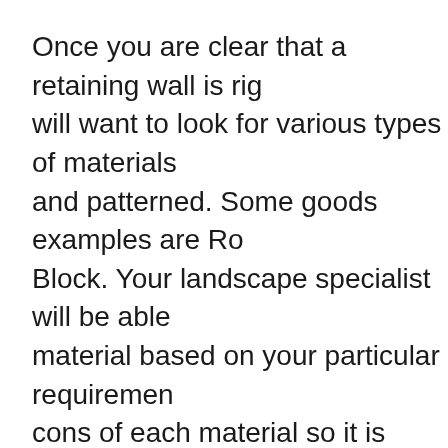Once you are clear that a retaining wall is rig will want to look for various types of materials and patterned. Some goods examples are Ro Block. Your landscape specialist will be able material based on your particular requiremen cons of each material so it is important to un
Depending on the type of property you're hav light you've installed, a retaining wall is an ap landscape design. Either you want that beca attention or you need one in order to make g is essential to find and employ a well-referen